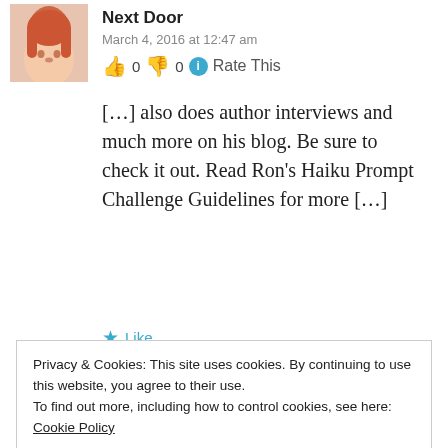[Figure (photo): Small avatar photo of a woman with red/orange hair cropped at shoulders, used as comment author profile picture]
Next Door
March 4, 2016 at 12:47 am
👍 0 👎 0 ℹ Rate This
[…] also does author interviews and much more on his blog. Be sure to check it out. Read Ron's Haiku Prompt Challenge Guidelines for more […]
★ Like
Writing Love Letters | The Aran Artisan
Privacy & Cookies: This site uses cookies. By continuing to use this website, you agree to their use.
To find out more, including how to control cookies, see here: Cookie Policy
Close and accept
which, combined with Mo & Tho…